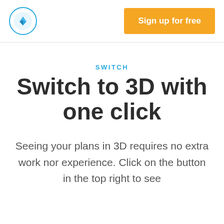Sign up for free
SWITCH
Switch to 3D with one click
Seeing your plans in 3D requires no extra work nor experience. Click on the button in the top right to see